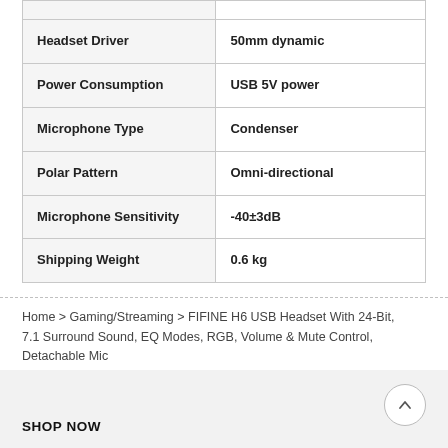| Specification | Value |
| --- | --- |
| Headset Driver | 50mm dynamic |
| Power Consumption | USB 5V power |
| Microphone Type | Condenser |
| Polar Pattern | Omni-directional |
| Microphone Sensitivity | -40±3dB |
| Shipping Weight | 0.6 kg |
Home > Gaming/Streaming > FIFINE H6 USB Headset With 24-Bit, 7.1 Surround Sound, EQ Modes, RGB, Volume & Mute Control, Detachable Mic
SHOP NOW